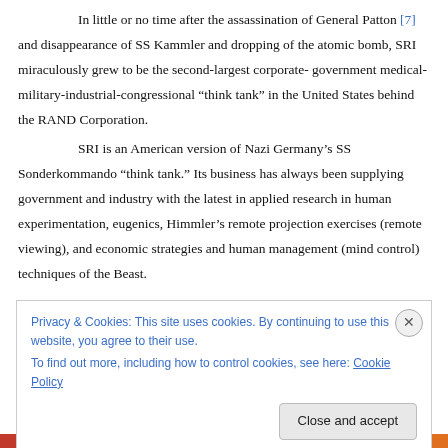In little or no time after the assassination of General Patton [7] and disappearance of SS Kammler and dropping of the atomic bomb, SRI miraculously grew to be the second-largest corporate-government medical-military-industrial-congressional “think tank” in the United States behind the RAND Corporation.

SRI is an American version of Nazi Germany’s SS Sonderkommando “think tank.” Its business has always been supplying government and industry with the latest in applied research in human experimentation, eugenics, Himmler’s remote projection exercises (remote viewing), and economic strategies and human management (mind control) techniques of the Beast.
Privacy & Cookies: This site uses cookies. By continuing to use this website, you agree to their use.
To find out more, including how to control cookies, see here: Cookie Policy
Close and accept